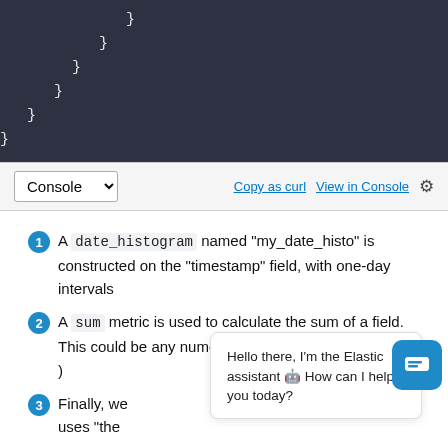[Figure (screenshot): Code block showing closing JSON braces indented at multiple levels on dark background]
Console  Copy as curl  View in Console [gear icon]
1 A date_histogram named "my_date_histo" is constructed on the "timestamp" field, with one-day intervals
2 A sum metric is used to calculate the sum of a field. This could be any numeric metric (sum, min, max, etc)
3 Finally, we... on uses "the...
Hello there, I'm the Elastic assistant 🤖 How can I help you today?